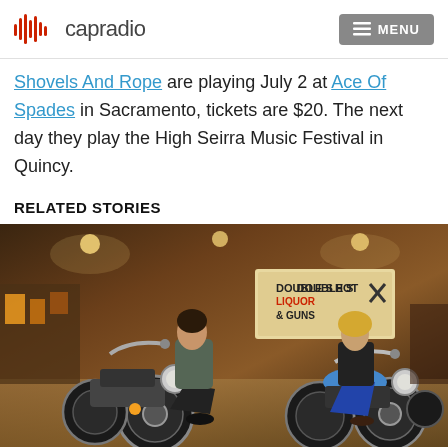capradio | MENU
Shovels And Rope are playing July 2 at Ace Of Spades in Sacramento, tickets are $20. The next day they play the High Seirra Music Festival in Quincy.
RELATED STORIES
[Figure (photo): Two people sitting on motorcycles in a garage/workshop setting. A sign in the background reads 'Double Shot Liquor & Guns'. The person on the left wears a gray jacket and dark jeans; the person on the right has blonde hair and wears a leather jacket and jeans on a blue motorcycle.]